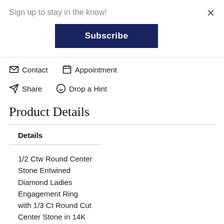Sign up to stay in the know!
Subscribe
Contact   Appointment
Share   Drop a Hint
Product Details
Details
1/2 Ctw Round Center Stone Entwined Diamond Ladies Engagement Ring with 1/3 Ct Round Cut Center Stone in 14K White Gold
| Name |  |
| --- | --- |
| Name | Diamond |